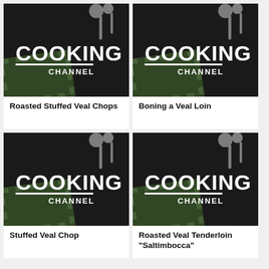[Figure (logo): Cooking Channel logo thumbnail for Roasted Stuffed Veal Chops]
Roasted Stuffed Veal Chops
[Figure (logo): Cooking Channel logo thumbnail for Boning a Veal Loin]
Boning a Veal Loin
[Figure (logo): Cooking Channel logo thumbnail for Stuffed Veal Chop]
Stuffed Veal Chop
[Figure (logo): Cooking Channel logo thumbnail for Roasted Veal Tenderloin "Saltimbocca"]
Roasted Veal Tenderloin "Saltimbocca"